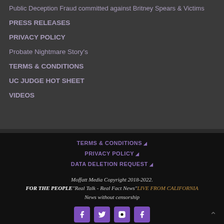Public Deception Fraud committed against Britney Spears & Victims
PRESS RELEASES
PRIVACY POLICY
Probate Nightmare Story's
TERMS & CONDITIONS
UC JUDGE HOT SHEET
VIDEOS
TERMS & CONDITIONS | PRIVACY POLICY | DATA DELETION REQUEST | Moffatt Media Copyright 2018-2022. FOR THE PEOPLE"Real Talk - Real Fact News"LIVE FROM CALIFORNIA News without censorship